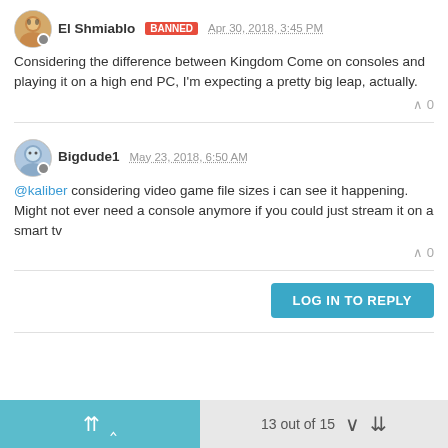El Shmiablo Banned Apr 30, 2018, 3:45 PM
Considering the difference between Kingdom Come on consoles and playing it on a high end PC, I'm expecting a pretty big leap, actually.
0
Bigdude1 May 23, 2018, 6:50 AM
@kaliber considering video game file sizes i can see it happening. Might not ever need a console anymore if you could just stream it on a smart tv
0
LOG IN TO REPLY
13 out of 15